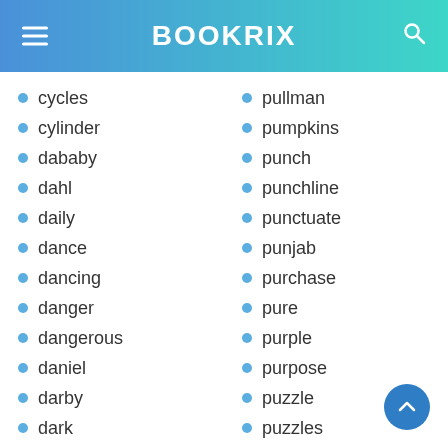BOOKRIX
cycles
cylinder
dababy
dahl
daily
dance
dancing
danger
dangerous
daniel
darby
dark
darker
pullman
pumpkins
punch
punchline
punctuate
punjab
purchase
pure
purple
purpose
puzzle
puzzles
pyjamas